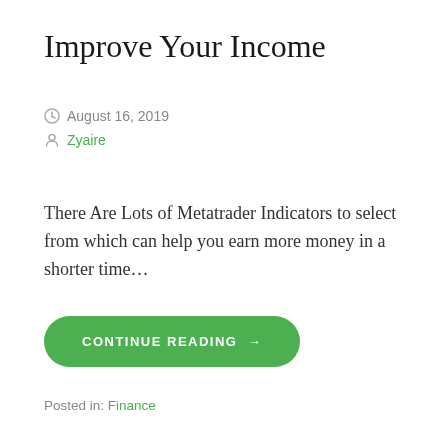Improve Your Income
August 16, 2019
Zyaire
There Are Lots of Metatrader Indicators to select from which can help you earn more money in a shorter time…
CONTINUE READING →
Posted in: Finance